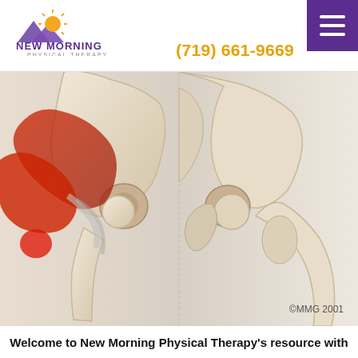New Morning Physical Therapy | (719) 661-9669
[Figure (illustration): Anatomical illustration of the hip joint and pelvis showing muscles, tendons, and bones. The left side shows red highlighted muscles indicating pain/injury area near the hip, with visible gluteal and hip flexor muscles. The right side shows a bare skeletal view of the pelvis and femur. Copyright mark: ©MMG 2001.]
©MMG 2001
Welcome to New Morning Physical Therapy's resource with